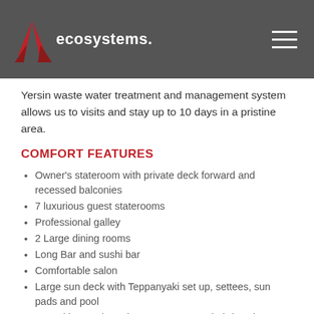[Figure (logo): Ecosystems logo with red wing/leaf graphic and white text on dark grey header bar]
Yersin waste water treatment and management system allows us to visits and stay up to 10 days in a pristine area.
COMFORT FEATURES
Owner's stateroom with private deck forward and recessed balconies
7 luxurious guest staterooms
Professional galley
2 Large dining rooms
Long Bar and sushi bar
Comfortable salon
Large sun deck with Teppanyaki set up, settees, sun pads and pool
Spa with gym, hot tub, massage room, hairdressing room and Hammam